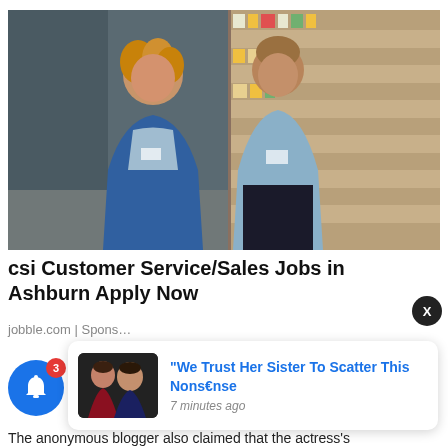[Figure (photo): Two retail workers in uniforms walking through a supermarket aisle lined with product shelves.]
csi Customer Service/Sales Jobs in Ashburn Apply Now
jobble.com | Sponsored
[Figure (photo): Thumbnail image showing two women, one in red, associated with a news popup notification.]
“We Trust Her Sister To Scatter This Nons€nse
7 minutes ago
The anonymous blogger also claimed that the actress's